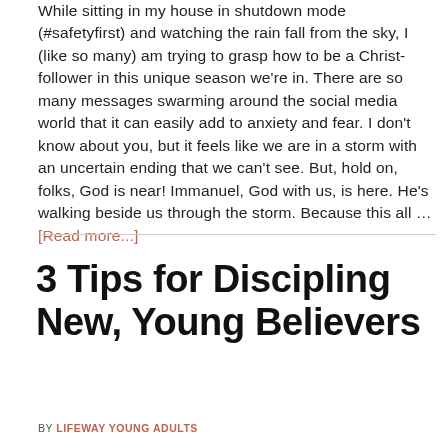While sitting in my house in shutdown mode (#safetyfirst) and watching the rain fall from the sky, I (like so many) am trying to grasp how to be a Christ-follower in this unique season we're in. There are so many messages swarming around the social media world that it can easily add to anxiety and fear. I don't know about you, but it feels like we are in a storm with an uncertain ending that we can't see. But, hold on, folks, God is near! Immanuel, God with us, is here. He's walking beside us through the storm. Because this all … [Read more...]
3 Tips for Discipling New, Young Believers
BY LIFEWAY YOUNG ADULTS